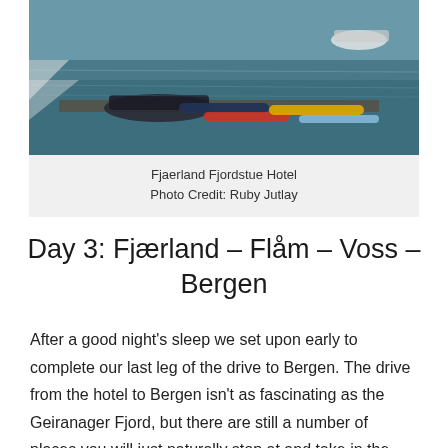[Figure (photo): Aerial or overhead view of boats and kayaks docked at a fjord hotel pier, with turquoise water visible. Fjaerland Fjordstue Hotel.]
Fjaerland Fjordstue Hotel
Photo Credit: Ruby Jutlay
Day 3: Fjærland – Flåm – Voss – Bergen
After a good night's sleep we set upon early to complete our last leg of the drive to Bergen. The drive from the hotel to Bergen isn't as fascinating as the Geiranager Fjord, but there are still a number of places you will just naturally stop at and take in the views. If the weather is right, you will see the reflections of the fjords in the lakes, great for capturing that perfect Instagram photo! Make sure you have lots of water with you as you will go through many tunnels on this stretch and you really do